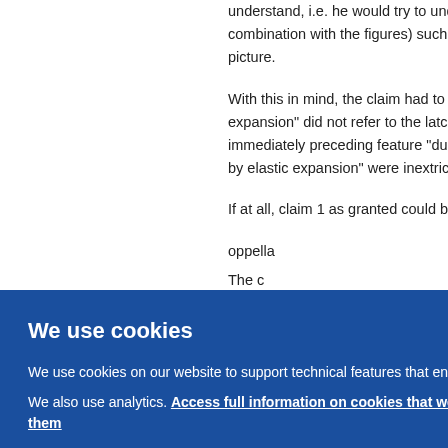understand, i.e. he would try to understand (in combination with the figures) such as to get the overall picture.
With this in mind, the claim had to be interpreted. "elastic expansion" did not refer to the latch element itself, but the immediately preceding feature "during which said latching by elastic expansion" were inextricably linked.
If at all, claim 1 as granted could be... oppella... The c... nd a s... -skilled... danc... s a wh... -matt... 67/08... neces...
We use cookies
We use cookies on our website to support technical features that enhance your user experience.
We also use analytics. Access full information on cookies that we use and how to manage them